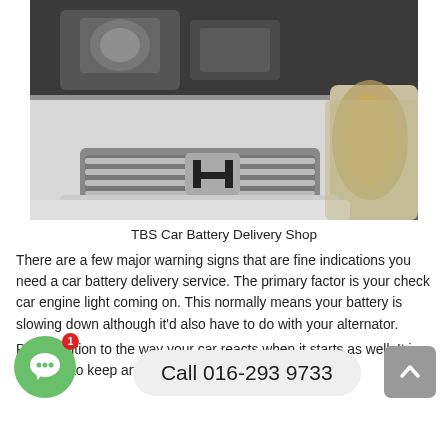[Figure (photo): Photo of the front of a white Honda car with hood open showing the engine bay, chrome grille with Honda logo, and amber headlight visible, taken outdoors.]
TBS Car Battery Delivery Shop
There are a few major warning signs that are fine indications you need a car battery delivery service. The primary factor is your check car engine light coming on. This normally means your battery is slowing down although it'd also have to do with your alternator.
Call 016-293 9733
Pay attention to the way your car reacts when it starts as well. It is a fine idea to keep an eye on the health of